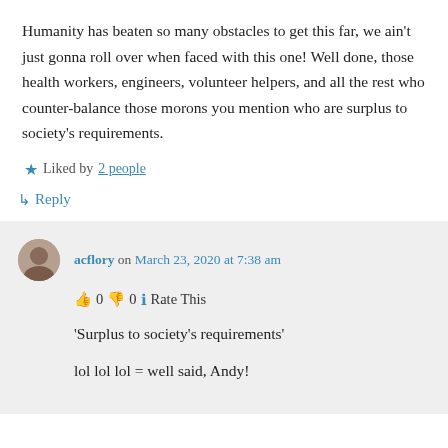Humanity has beaten so many obstacles to get this far, we ain’t just gonna roll over when faced with this one! Well done, those health workers, engineers, volunteer helpers, and all the rest who counter-balance those morons you mention who are surplus to society’s requirements.
★ Liked by 2 people
↳ Reply
acflory on March 23, 2020 at 7:38 am
👍 0 👎 0 ℹ Rate This
‘Surplus to society’s requirements’
lol lol lol = well said, Andy!